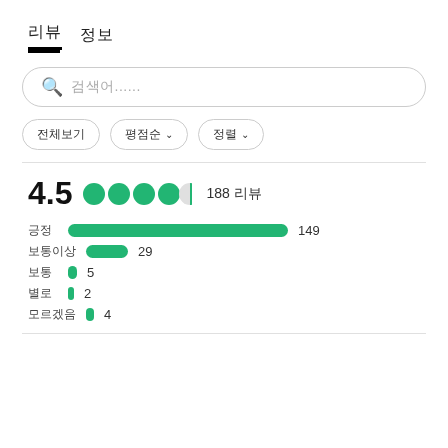리뷰   정보
검색어......
전체보기
평점순 ▾
정렬 ▾
4.5  ●●●●◑  188 리뷰
[Figure (bar-chart): Rating distribution]